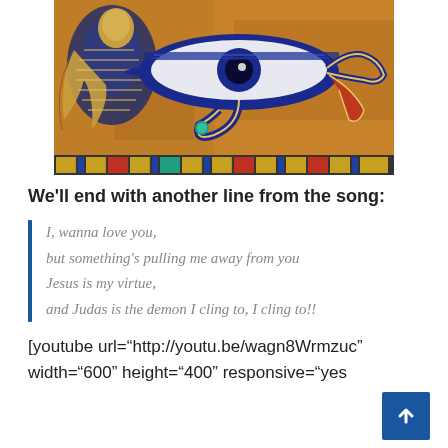[Figure (illustration): Egyptian Eye of Horus / Eye of Ra artwork on papyrus background with colorful hieroglyphic border at bottom. Features a large stylized eye with blue and gold decorations, a falcon on the left side, and serpent on the right.]
We’ll end with another line from the song:
I, wanna love you,
but something’s pulling me away from you
Jesus is my virtue,
and Judas is the demon I cling to, I cling to!!
[youtube url=“http://youtu.be/wagn8Wrmzuc” width=“600” height=“400” responsive=“yes